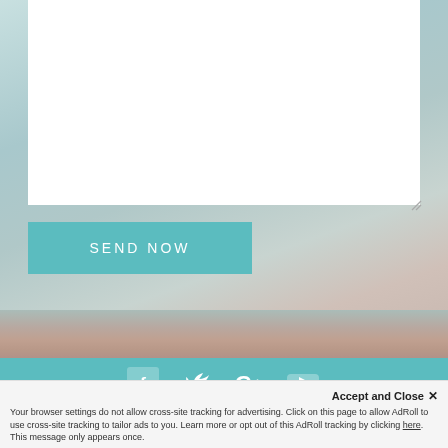[Figure (screenshot): White textarea input box for user message, partially visible at top of page]
[Figure (other): SEND NOW button in teal/turquoise color with white uppercase text]
[Figure (other): Teal footer bar with social media icons (Facebook, Twitter, Google+, YouTube)]
Accept and Close ×
Your browser settings do not allow cross-site tracking for advertising. Click on this page to allow AdRoll to use cross-site tracking to tailor ads to you. Learn more or opt out of this AdRoll tracking by clicking here. This message only appears once.